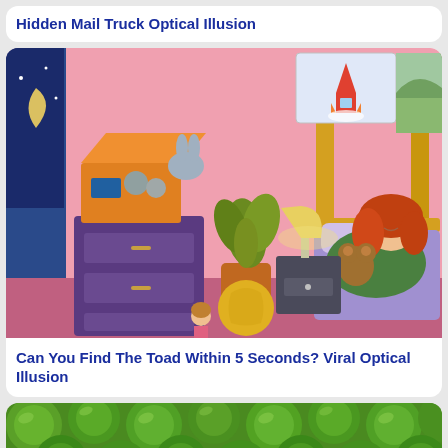Hidden Mail Truck Optical Illusion
[Figure (illustration): Cartoon illustration of a child's bedroom at night. A girl with curly red hair lies in a yellow bed holding a teddy bear. The pink room contains a purple dresser with an open box of toys on top, a potted plant, a bedside lamp, and wall art showing a rocket and a nature scene. A small doll is visible on the floor.]
Can You Find The Toad Within 5 Seconds? Viral Optical Illusion
[Figure (photo): A large pile of fresh green limes (or similar citrus fruit), tightly packed together, filling the frame.]